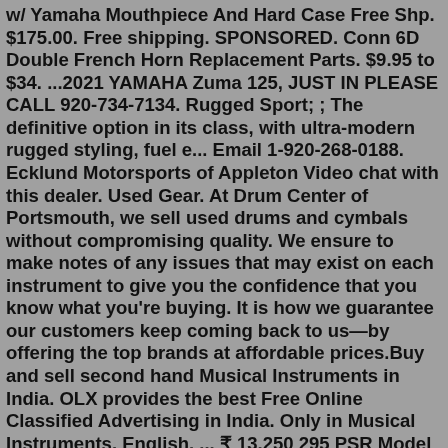w/ Yamaha Mouthpiece And Hard Case Free Shp. $175.00. Free shipping. SPONSORED. Conn 6D Double French Horn Replacement Parts. $9.95 to $34. ...2021 YAMAHA Zuma 125, JUST IN PLEASE CALL 920-734-7134. Rugged Sport; ; The definitive option in its class, with ultra-modern rugged styling, fuel e... Email 1-920-268-0188. Ecklund Motorsports of Appleton Video chat with this dealer. Used Gear. At Drum Center of Portsmouth, we sell used drums and cymbals without compromising quality. We ensure to make notes of any issues that may exist on each instrument to give you the confidence that you know what you're buying. It is how we guarantee our customers keep coming back to us—by offering the top brands at affordable prices.Buy and sell second hand Musical Instruments in India. OLX provides the best Free Online Classified Advertising in India. Only in Musical Instruments. English. ... ₹ 13,250 295 PSR Model Yamaha keyboard in new condition is for sale. Nangla Tashi Qasimpur, Meerut Yesterday ₹ 7,000 Yamaha PSR E223 keyboard / piano. Nanganallur